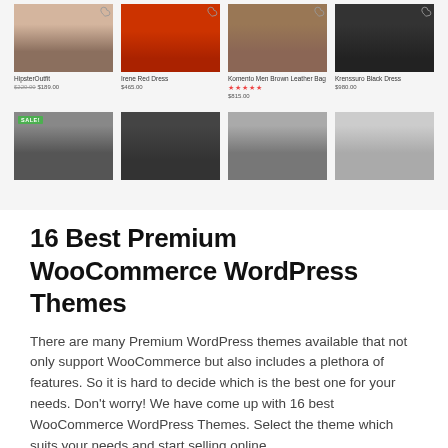[Figure (screenshot): WooCommerce product grid showing 8 product thumbnails in two rows of four, with product names, prices, heart/wishlist icons, star ratings, and a SALE badge on one item.]
16 Best Premium WooCommerce WordPress Themes
There are many Premium WordPress themes available that not only support WooCommerce but also includes a plethora of features. So it is hard to decide which is the best one for your needs. Don't worry! We have come up with 16 best WooCommerce WordPress Themes. Select the theme which suits your needs and start selling online.